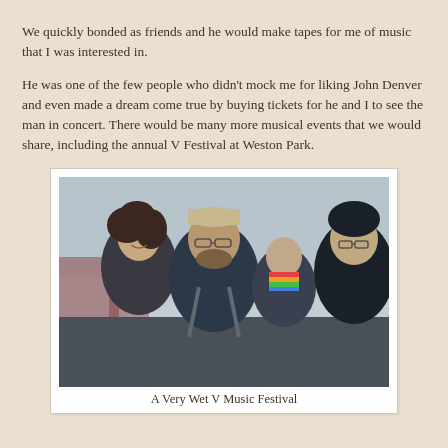We quickly bonded as friends and he would make tapes for me of music that I was interested in.
He was one of the few people who didn't mock me for liking John Denver and even made a dream come true by buying tickets for he and I to see the man in concert. There would be many more musical events that we would share, including the annual V Festival at Weston Park.
[Figure (photo): Four people in rain gear standing close together, smiling at camera at an outdoor music festival. Overcast sky in background.]
A Very Wet V Music Festival